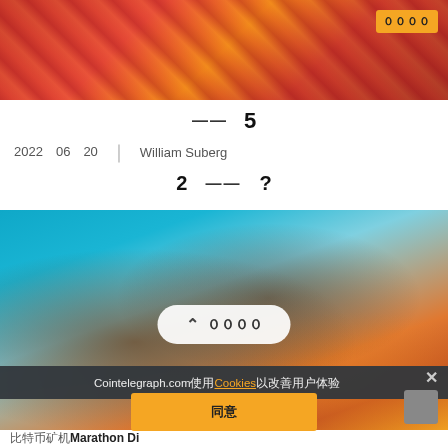[Figure (photo): Top banner image showing abstract red/orange diagonal patterns, with a yellow badge in top right corner containing Japanese/Chinese characters]
—— 5
2022 06 20 | William Suberg
2 —— ?
[Figure (illustration): Game artwork showing a large mechanical/steampunk circular object with fire effects and a character, on a blue background, with scroll-to-top button overlay]
Cointelegraph.com使用Cookies以改善用户体验
同意
比特币矿机Marathon Di